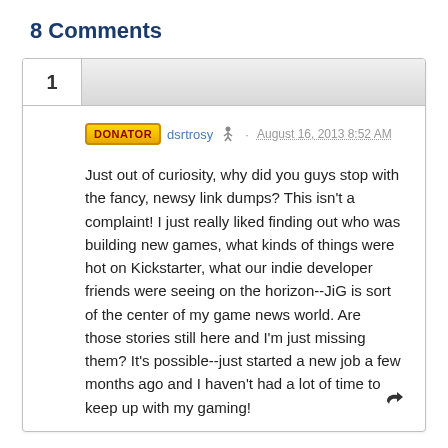8 Comments
DONATOR  dsrtrosy  · August 16, 2013 8:52 AM
Just out of curiosity, why did you guys stop with the fancy, newsy link dumps? This isn't a complaint! I just really liked finding out who was building new games, what kinds of things were hot on Kickstarter, what our indie developer friends were seeing on the horizon--JiG is sort of the center of my game news world. Are those stories still here and I'm just missing them? It's possible--just started a new job a few months ago and I haven't had a lot of time to keep up with my gaming!